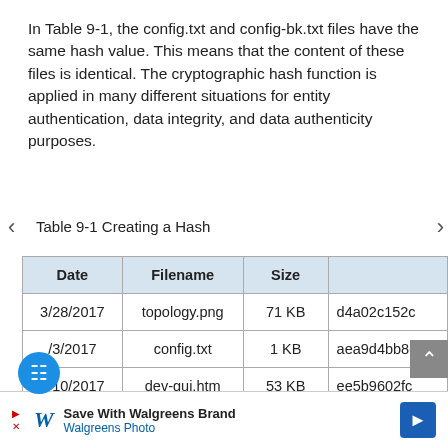In Table 9-1, the config.txt and config-bk.txt files have the same hash value. This means that the content of these files is identical. The cryptographic hash function is applied in many different situations for entity authentication, data integrity, and data authenticity purposes.
Table 9-1 Creating a Hash
| Date | Filename | Size |  |
| --- | --- | --- | --- |
| 3/28/2017 | topology.png | 71 KB | d4a02c152c... |
| /3/2017 | config.txt | 1 KB | aea9d4bb8e... |
| 4/10/2017 | dev-gui.htm | 53 KB | ee5b9602fc... |
| 4/12/2017 | dev-
image.zip | 348,512
KB | f3b911b2da... |